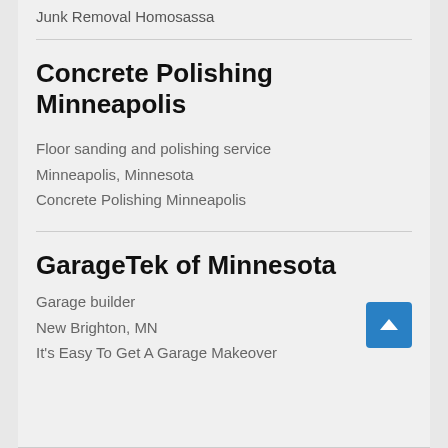Junk Removal Homosassa
Concrete Polishing Minneapolis
Floor sanding and polishing service
Minneapolis, Minnesota
Concrete Polishing Minneapolis
GarageTek of Minnesota
Garage builder
New Brighton, MN
It's Easy To Get A Garage Makeover